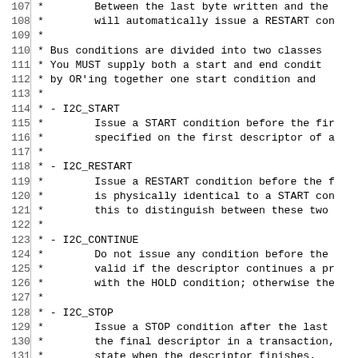Source code comment block showing I2C bus condition definitions (lines 107-136), including I2C_START, I2C_RESTART, I2C_CONTINUE, I2C_STOP, and I2C_HOLD.